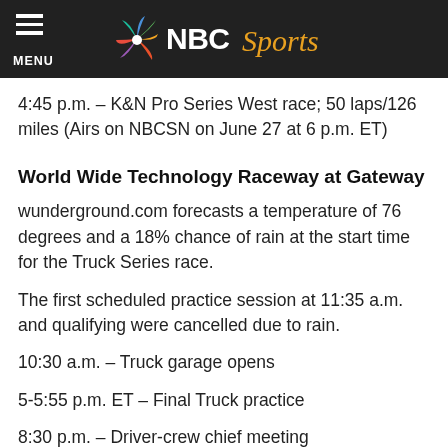NBC Sports
4:45 p.m. – K&N Pro Series West race; 50 laps/126 miles (Airs on NBCSN on June 27 at 6 p.m. ET)
World Wide Technology Raceway at Gateway
wunderground.com forecasts a temperature of 76 degrees and a 18% chance of rain at the start time for the Truck Series race.
The first scheduled practice session at 11:35 a.m. and qualifying were cancelled due to rain.
10:30 a.m. – Truck garage opens
5-5:55 p.m. ET – Final Truck practice
8:30 p.m. – Driver-crew chief meeting